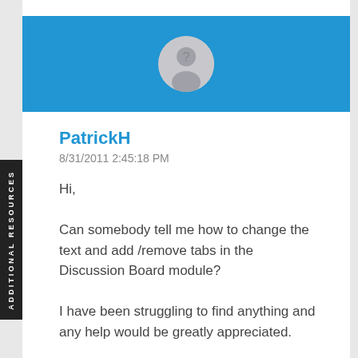[Figure (illustration): Blue banner header with circular avatar/profile placeholder icon (gray circle with question mark silhouette)]
PatrickH
8/31/2011 2:45:18 PM
Hi,

Can somebody tell me how to change the text and add /remove tabs in the Discussion Board module?

I have been struggling to find anything and any help would be greatly appreciated.

Still have to say this is one of the best CMS
ADDITIONAL RESOURCES